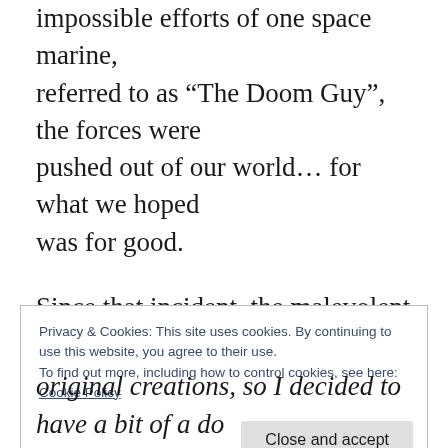impossible efforts of one space marine, referred to as "The Doom Guy", the forces were pushed out of our world… for what we hoped was for good.
Since that incident, the malevolent armies of this underworld realm have discovered other Prime Material Planes and have continued a campaign of multiversal conquest!  Parallel realities and other planes entirely have faced off against these things.  It has even been
Privacy & Cookies: This site uses cookies. By continuing to use this website, you agree to their use.
To find out more, including how to control cookies, see here: Cookie Policy
original creations, so I decided to have a bit of a do